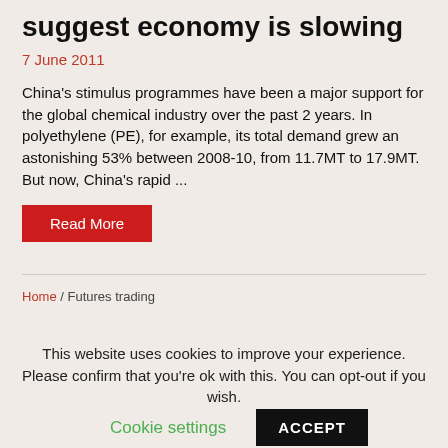suggest economy is slowing
7 June 2011
China's stimulus programmes have been a major support for the global chemical industry over the past 2 years. In polyethylene (PE), for example, its total demand grew an astonishing 53% between 2008-10, from 11.7MT to 17.9MT. But now, China's rapid ...
Read More
Home / Futures trading
This website uses cookies to improve your experience. Please confirm that you're ok with this. You can opt-out if you wish.
Cookie settings
ACCEPT